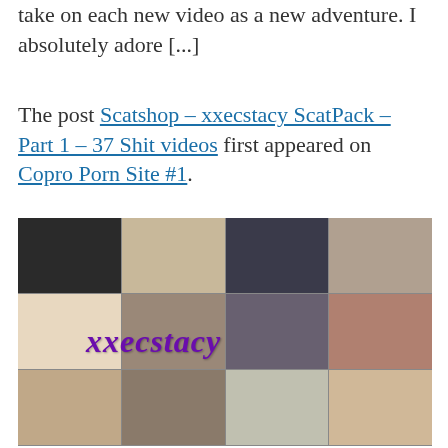take on each new video as a new adventure. I absolutely adore [...]
The post Scatshop – xxecstacy ScatPack – Part 1 – 37 Shit videos first appeared on Copro Porn Site #1.
[Figure (photo): Collage of multiple photos with 'xxecstacy' text overlay in purple italic font]